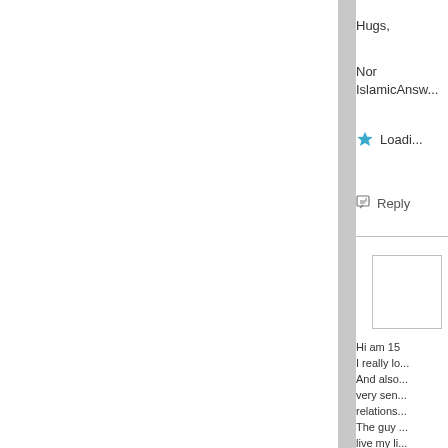Hugs,
Nor
IslamicAnsw...
Loading...
Reply
[Figure (other): Avatar/profile image placeholder box]
Hi am 15
I really lo...
And also...
very sen...
relations...
The guy ...
live my li...
sex. And...
husbanda...
back and...
dad .........